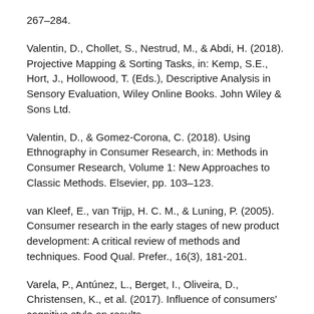267–284.
Valentin, D., Chollet, S., Nestrud, M., & Abdi, H. (2018). Projective Mapping & Sorting Tasks, in: Kemp, S.E., Hort, J., Hollowood, T. (Eds.), Descriptive Analysis in Sensory Evaluation, Wiley Online Books. John Wiley & Sons Ltd.
Valentin, D., & Gomez-Corona, C. (2018). Using Ethnography in Consumer Research, in: Methods in Consumer Research, Volume 1: New Approaches to Classic Methods. Elsevier, pp. 103–123.
van Kleef, E., van Trijp, H. C. M., & Luning, P. (2005). Consumer research in the early stages of new product development: A critical review of methods and techniques. Food Qual. Prefer., 16(3), 181-201.
Varela, P., Antúnez, L., Berget, I., Oliveira, D., Christensen, K., et al. (2017). Influence of consumers' cognitive style on results